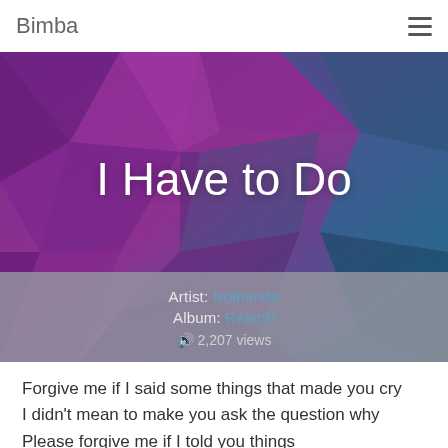Bimba
I Have to Do
Artist: Nothende
Album: Rebirth
🔊 2,207 views
Forgive me if I said some things that made you cry
I didn't mean to make you ask the question why
Please forgive me if I told you things
That made you believe that I'm on your side
I didn't mean to let you down